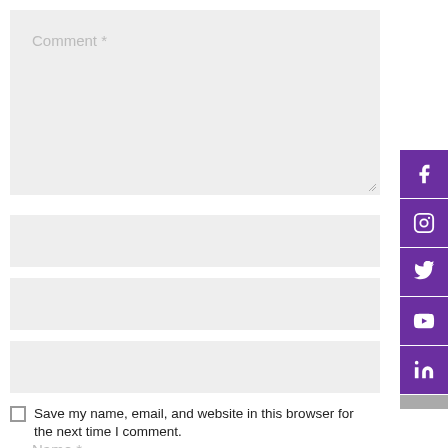Comment *
Name *
Email *
Website
Save my name, email, and website in this browser for the next time I comment.
[Figure (other): Social media sidebar with Facebook, Instagram, Twitter, YouTube, and LinkedIn icons in purple buttons on the right edge]